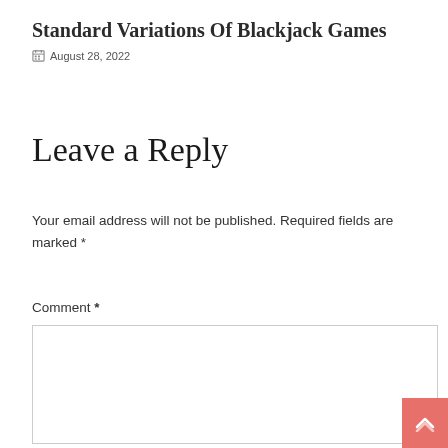Standard Variations Of Blackjack Games
August 28, 2022
Leave a Reply
Your email address will not be published. Required fields are marked *
Comment *